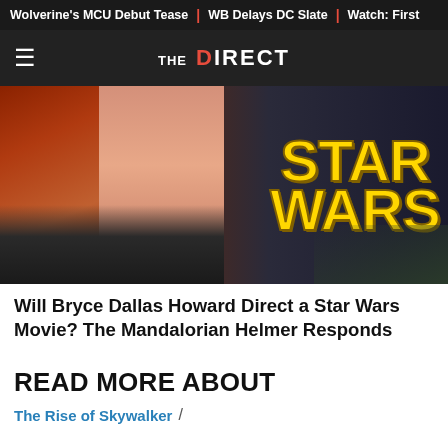Wolverine's MCU Debut Tease | WB Delays DC Slate | Watch: First
THE DIRECT
[Figure (photo): Hero image showing a woman with red hair alongside a figure in dark armor, with the Star Wars logo overlaid in large yellow text]
Will Bryce Dallas Howard Direct a Star Wars Movie? The Mandalorian Helmer Responds
READ MORE ABOUT
The Rise of Skywalker  /
FOLLOW US